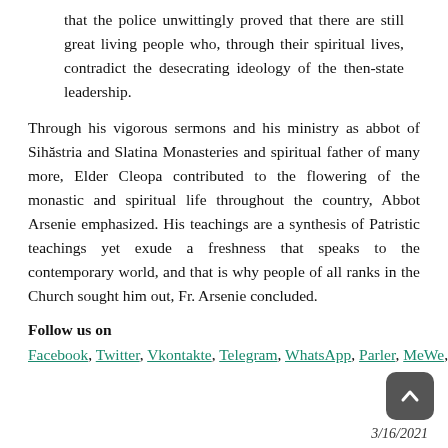that the police unwittingly proved that there are still great living people who, through their spiritual lives, contradict the desecrating ideology of the then-state leadership.
Through his vigorous sermons and his ministry as abbot of Sihăstria and Slatina Monasteries and spiritual father of many more, Elder Cleopa contributed to the flowering of the monastic and spiritual life throughout the country, Abbot Arsenie emphasized. His teachings are a synthesis of Patristic teachings yet exude a freshness that speaks to the contemporary world, and that is why people of all ranks in the Church sought him out, Fr. Arsenie concluded.
Follow us on Facebook, Twitter, Vkontakte, Telegram, WhatsApp, Parler, MeWe, and Gab!
3/16/2021